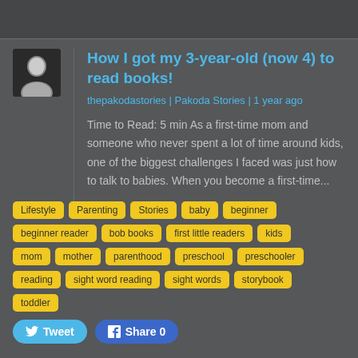How I got my 3-year-old (now 4) to read books!
thepakodastories | Pakoda Stories | 1 year ago
Time to Read: 5 min As a first-time mom and someone who never spent a lot of time around kids, one of the biggest challenges I faced was just how to talk to babies. When you become a first-time...
Lifestyle
Parenting
Stories
baby
beginner
beginner reader
bob books
first little readers
kids
mom
mother
parenthood
preschool
preschooler
reading
sight word reading
sight words
storybook
toddler
Tweet | Share 0